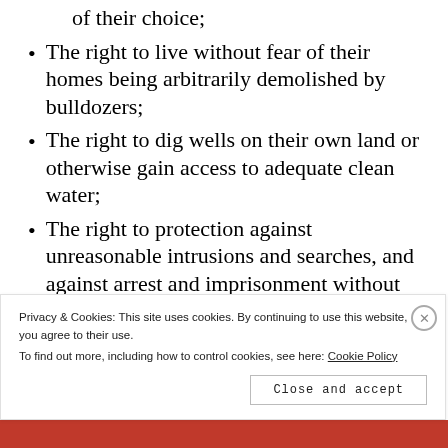and family together in the home of their choice;
The right to live without fear of their homes being arbitrarily demolished by bulldozers;
The right to dig wells on their own land or otherwise gain access to adequate clean water;
The right to protection against unreasonable intrusions and searches, and against arrest and imprisonment without due process of law;
Privacy & Cookies: This site uses cookies. By continuing to use this website, you agree to their use. To find out more, including how to control cookies, see here: Cookie Policy
Close and accept